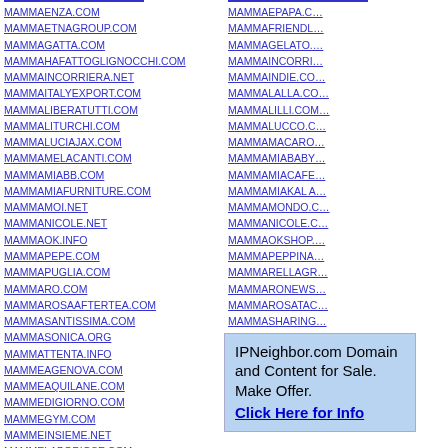MAMMAENZA.COM
MAMMAETNAGROUP.COM
MAMMAGATTA.COM
MAMMAHAFATTOGLIGNOCCHI.COM
MAMMAINCORRIERA.NET
MAMMAITALYEXPORT.COM
MAMMALIBERATUTTI.COM
MAMMALITURCHI.COM
MAMMALUCIAJAX.COM
MAMMAMELACANTI.COM
MAMMAMIABB.COM
MAMMAMIAFURNITURE.COM
MAMMAMOI.NET
MAMMANICOLE.NET
MAMMAOK.INFO
MAMMAPEPE.COM
MAMMAPUGLIA.COM
MAMMARO.COM
MAMMAROSAAFTERTEA.COM
MAMMASANTISSIMA.COM
MAMMASONICA.ORG
MAMMATTENTA.INFO
MAMMEAGENOVA.COM
MAMMEAQUILANE.COM
MAMMEDIGIORNO.COM
MAMMEGYM.COM
MAMMEINSIEME.NET
MAMMELABORIOSE.COM
MAMMAEPAPA.C...
MAMMAFRIENDL...
MAMMAGELATO....
MAMMAINCORRI...
MAMMAINDIE.CO...
MAMMALALLA.CO...
MAMMALILLI.COM...
MAMMALUCCO.C...
MAMMAMACARO...
MAMMAMIABABY...
MAMMAMIACAFE...
MAMMAMIAKAL A...
MAMMAMONDO.C...
MAMMANICOLE.C...
MAMMAOKSHOP....
MAMMAPEPPINA...
MAMMARELLAGR...
MAMMARONEWS...
MAMMAROSATAC...
MAMMASHARING...
MAMMATEA.NET
MAMMATTENTA.N...
MAMMEALCENTR...
IPNeighbor.com Domain and Content for Sale. Make Offer. Click Here for Info